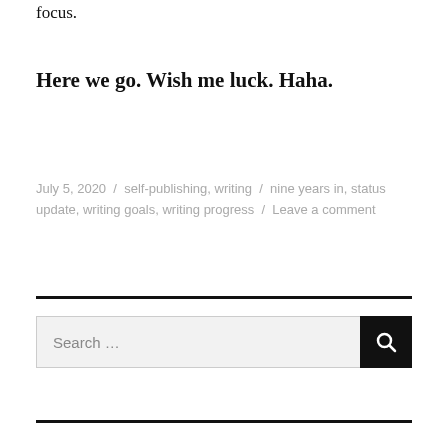focus.
Here we go. Wish me luck. Haha.
July 5, 2020 / self-publishing, writing / nine years in, status update, writing goals, writing progress / Leave a comment